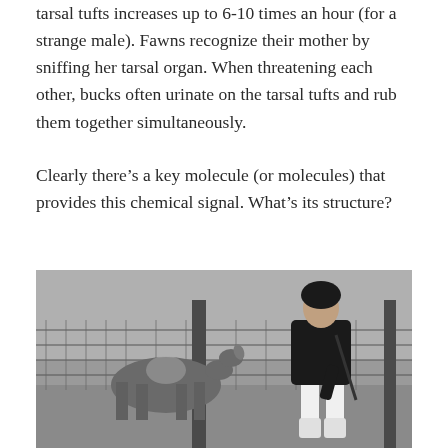tarsal tufts increases up to 6-10 times an hour (for a strange male). Fawns recognize their mother by sniffing her tarsal organ. When threatening each other, bucks often urinate on the tarsal tufts and rub them together simultaneously.
Clearly there's a key molecule (or molecules) that provides this chemical signal. What's its structure?
[Figure (photo): Black and white photograph of a person in dark clothing bending over a fence, while a deer stands on the other side of the wire fence.]